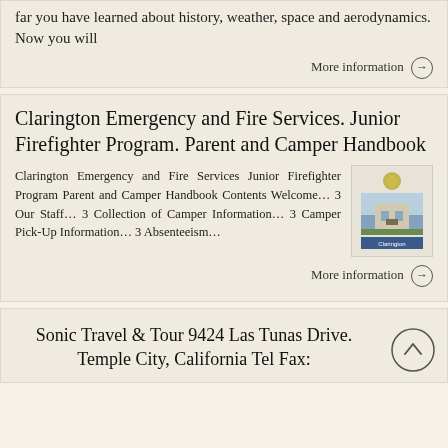far you have learned about history, weather, space and aerodynamics. Now you will
More information →
Clarington Emergency and Fire Services. Junior Firefighter Program. Parent and Camper Handbook
Clarington Emergency and Fire Services Junior Firefighter Program Parent and Camper Handbook Contents Welcome… 3 Our Staff… 3 Collection of Camper Information… 3 Camper Pick-Up Information… 3 Absenteeism…
[Figure (photo): Thumbnail image of Clarington Emergency and Fire Services Junior Firefighter Program Parent and Camper Handbook cover]
More information →
Sonic Travel & Tour 9424 Las Tunas Drive. Temple City, California Tel Fax: